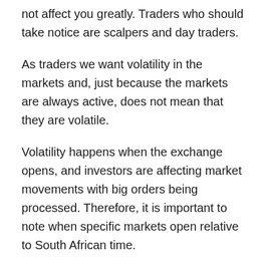not affect you greatly. Traders who should take notice are scalpers and day traders.
As traders we want volatility in the markets and, just because the markets are always active, does not mean that they are volatile.
Volatility happens when the exchange opens, and investors are affecting market movements with big orders being processed. Therefore, it is important to note when specific markets open relative to South African time.
The risk of holding a position when different